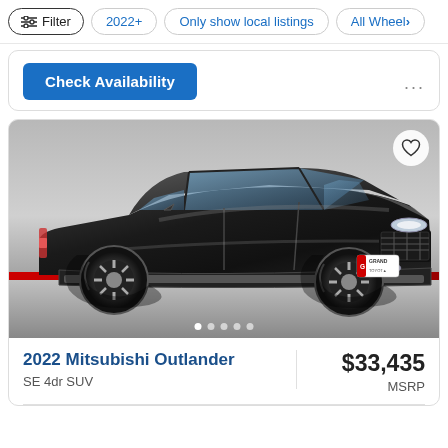Filter | 2022+ | Only show local listings | All Wheel
Check Availability
[Figure (photo): Black 2022 Mitsubishi Outlander SUV photographed from front-left angle in a dealership showroom. Dealer plate reads Grand. Heart/favorite icon in top-right corner. Image carousel dots at bottom.]
2022 Mitsubishi Outlander
SE 4dr SUV
$33,435
MSRP